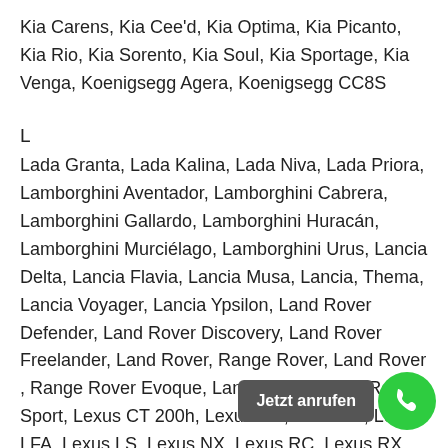Kia Carens, Kia Cee'd, Kia Optima, Kia Picanto, Kia Rio, Kia Sorento, Kia Soul, Kia Sportage, Kia Venga, Koenigsegg Agera, Koenigsegg CC8S
L
Lada Granta, Lada Kalina, Lada Niva, Lada Priora, Lamborghini Aventador, Lamborghini Cabrera, Lamborghini Gallardo, Lamborghini Huracán, Lamborghini Murciélago, Lamborghini Urus, Lancia Delta, Lancia Flavia, Lancia Musa, Lancia, Thema, Lancia Voyager, Lancia Ypsilon, Land Rover Defender, Land Rover Discovery, Land Rover Freelander, Land Rover, Range Rover, Land Rover , Range Rover Evoque, Land Rover Range Rover Sport, Lexus CT 200h, Lexus GS, Lexus IS, Lexus LFA, Lexus LS, Lexus NX, Lexus RC, Lexus RX, Lotus 2-Eleven, Lotus Elise, Lotus Evora, Lotus Exige.
M
Maserati Ghibli, Maserati GranCabrio, Maserati GranTurismo, Maserati Levante, Maserati Quattroporte.